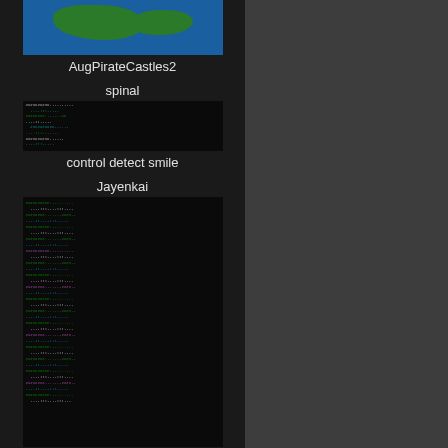[Figure (screenshot): Map screenshot showing blue ocean with green landmasses (Japan area)]
AugPirateCastles2
spinal
[Figure (screenshot): Terminal/code screenshot with green text on black background]
control detect smile
Jayenkai
[Figure (screenshot): Tall terminal/code screenshot with green, white, cyan text on black background]
SmileCode
Jayenkai
[Figure (screenshot): Pink/magenta grid game screenshot with white and red dots]
FZZpvLmUEAEWiYL
Jayenkai
[Figure (screenshot): Dark scene screenshot]